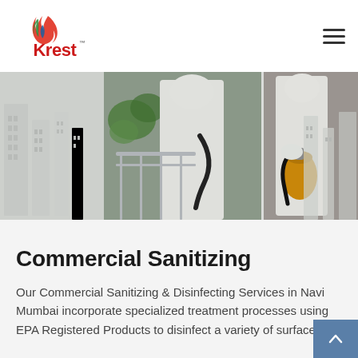[Figure (logo): Krest logo with colored swoosh/flame icon above the word Krest in red, with TM superscript]
[Figure (photo): Two photos of workers in white protective suits/hazmat gear performing commercial sanitizing/disinfecting, one spraying near a railing with plants visible, another holding a yellow sprayer tank; building silhouettes in background on grey field]
Commercial Sanitizing
Our Commercial Sanitizing & Disinfecting Services in Navi Mumbai incorporate specialized treatment processes using EPA Registered Products to disinfect a variety of surfaces.